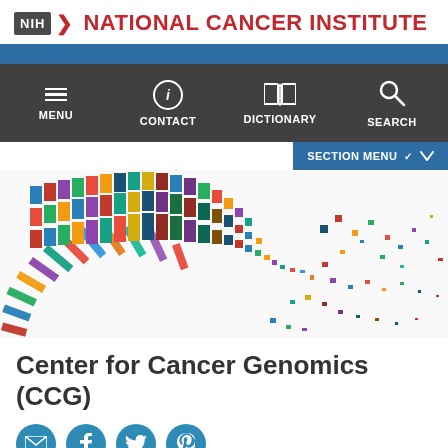[Figure (logo): NIH National Cancer Institute logo with NIH badge and red chevron]
[Figure (screenshot): Navigation bar with MENU, CONTACT, DICTIONARY, SEARCH options on dark background]
[Figure (illustration): Colorful genomic/DNA sequence visualization showing fan-shaped arrangement of multicolored rectangular segments dispersing outward]
Center for Cancer Genomics (CCG)
[Figure (infographic): Social media icons row: email, Facebook, Twitter, Pinterest - circular teal icons]